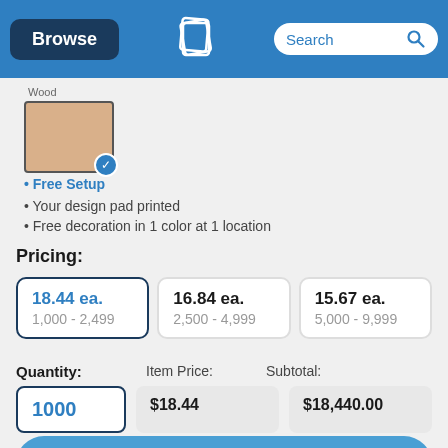[Figure (screenshot): Website header with Browse button, QLP logo, and Search bar on blue background]
[Figure (photo): Wood material swatch with checkmark selected indicator]
Free Setup
Your design pad printed
Free decoration in 1 color at 1 location
Pricing:
| Price | Quantity Range |
| --- | --- |
| 18.44 ea. | 1,000 - 2,499 |
| 16.84 ea. | 2,500 - 4,999 |
| 15.67 ea. | 5,000 - 9,999 |
Quantity: 1000   Item Price: $18.44   Subtotal: $18,440.00
Add to Cart
or Get Your Quote